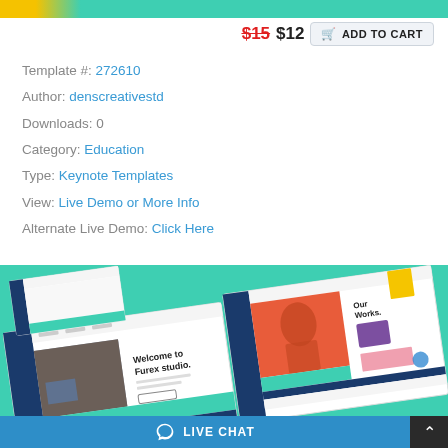[Figure (screenshot): Top decorative banner strip with yellow and teal gradient]
$15 $12  ADD TO CART
Template #: 272610
Author: denscreativestd
Downloads: 0
Category: Education
Type: Keynote Templates
View: Live Demo or More Info
Alternate Live Demo: Click Here
[Figure (screenshot): Preview of Furex studio Keynote template slides displayed on a teal/green background, showing slide layouts with colorful design elements, 'Welcome to Furex studio.' text, and 'Our Works' section]
LIVE CHAT